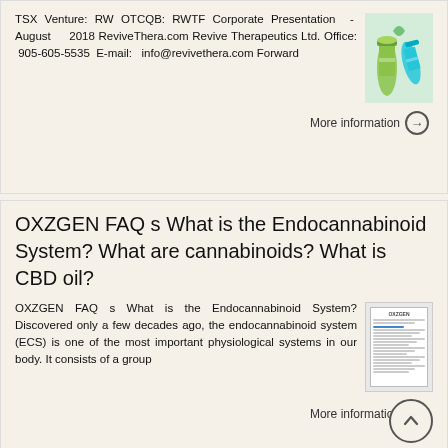TSX Venture: RW OTCQB: RWTF Corporate Presentation - August 2018 ReviveThera.com Revive Therapeutics Ltd. Office: 905-605-5535 E-mail: info@revivethera.com Forward
More information →
OXZGEN FAQ s What is the Endocannabinoid System? What are cannabinoids? What is CBD oil?
OXZGEN FAQ s What is the Endocannabinoid System? Discovered only a few decades ago, the endocannabinoid system (ECS) is one of the most important physiological systems in our body. It consists of a group
More information →
Global Rheumatoid Arthritis Market: